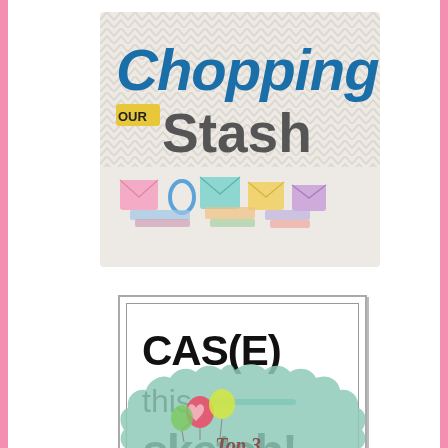[Figure (logo): Chopping Our Stash crafting challenge badge with chevron background and craft supplies]
[Figure (logo): CAS(E) this sketch! favorite badge with sketchy border, teal underline]
[Figure (logo): Challenge Up Your Life Top 3 badge with teal scalloped cloud shape and balloons]